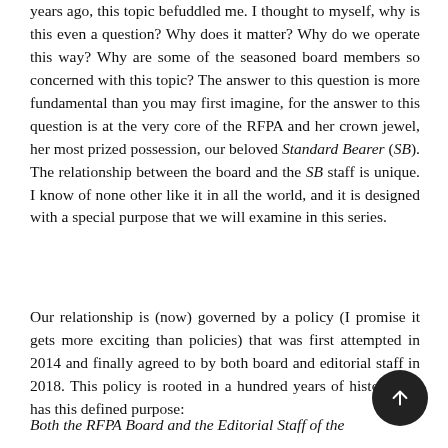years ago, this topic befuddled me. I thought to myself, why is this even a question? Why does it matter? Why do we operate this way? Why are some of the seasoned board members so concerned with this topic? The answer to this question is more fundamental than you may first imagine, for the answer to this question is at the very core of the RFPA and her crown jewel, her most prized possession, our beloved Standard Bearer (SB). The relationship between the board and the SB staff is unique. I know of none other like it in all the world, and it is designed with a special purpose that we will examine in this series.
Our relationship is (now) governed by a policy (I promise it gets more exciting than policies) that was first attempted in 2014 and finally agreed to by both board and editorial staff in 2018. This policy is rooted in a hundred years of history and has this defined purpose:
Both the RFPA Board and the Editorial Staff of the